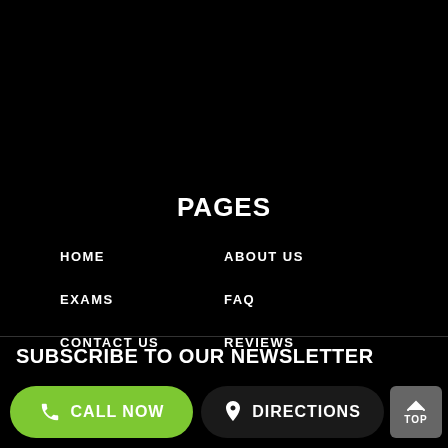PAGES
HOME
ABOUT US
EXAMS
FAQ
CONTACT US
REVIEWS
SUBSCRIBE TO OUR NEWSLETTER
CALL NOW
DIRECTIONS
TOP